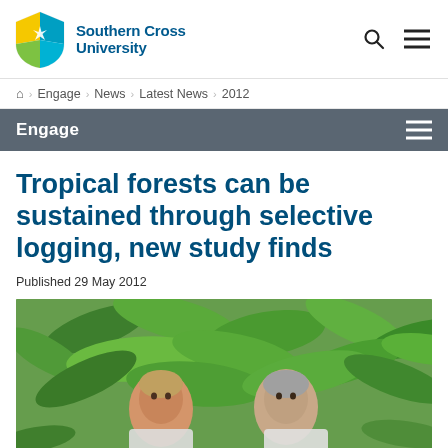Southern Cross University
⌂ > Engage > News > Latest News > 2012
Engage
Tropical forests can be sustained through selective logging, new study finds
Published 29 May 2012
[Figure (photo): Two people standing outdoors in front of green tropical foliage]